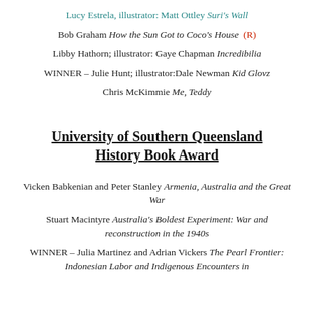Lucy Estrela, illustrator: Matt Ottley Suri's Wall
Bob Graham How the Sun Got to Coco's House (R)
Libby Hathorn; illustrator: Gaye Chapman Incredibilia
WINNER – Julie Hunt; illustrator:Dale Newman Kid Glovz
Chris McKimmie Me, Teddy
University of Southern Queensland History Book Award
Vicken Babkenian and Peter Stanley Armenia, Australia and the Great War
Stuart Macintyre Australia's Boldest Experiment: War and reconstruction in the 1940s
WINNER – Julia Martinez and Adrian Vickers The Pearl Frontier: Indonesian Labor and Indigenous Encounters in